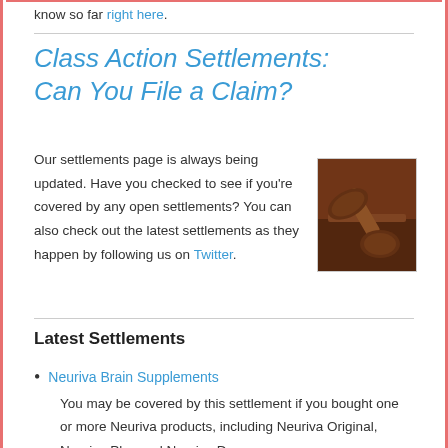know so far right here.
Class Action Settlements: Can You File a Claim?
Our settlements page is always being updated. Have you checked to see if you're covered by any open settlements? You can also check out the latest settlements as they happen by following us on Twitter.
[Figure (photo): A wooden gavel resting on a surface, legal/court themed photo]
Latest Settlements
Neuriva Brain Supplements
You may be covered by this settlement if you bought one or more Neuriva products, including Neuriva Original, Neuriva Plus and Neuriva De...